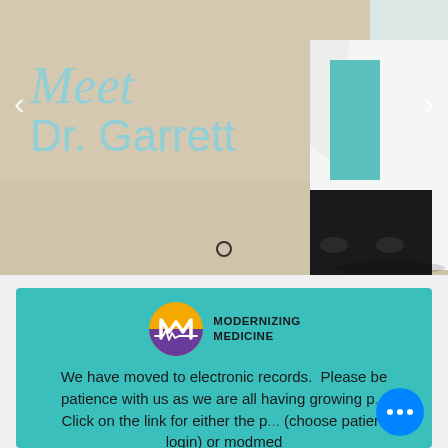[Figure (photo): Photo of Dr. Garrett in a white lab coat over a teal top, standing in a medical office hallway. Text overlay reads 'Meet Dr. Garrett' in light blue. Navigation arrows on left and right, carousel dot at bottom.]
[Figure (logo): Modernizing Medicine logo: circular logo with yellow/gold top half and purple bottom half with white M and heartbeat line, next to text 'MODERNIZING MEDICINE']
We have moved to electronic records.  Please be patience with us as we are all having growing p... Click on the link for either the p... (choose patient login) or modmed